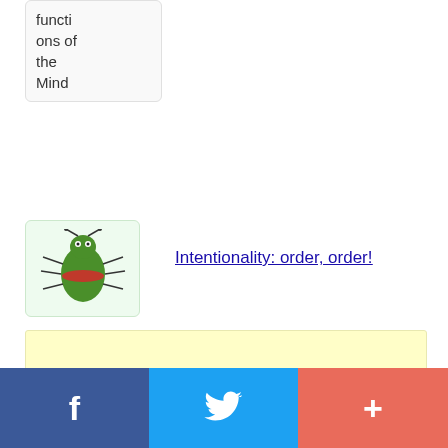functions of the Mind
[Figure (illustration): Bug/insect cartoon illustration on light green background]
Intentionality: order, order!
[Figure (other): Yellow advertisement banner]
[Figure (photo): Portrait photo of a man with glasses and mustache]
About
f  (Twitter bird)  +